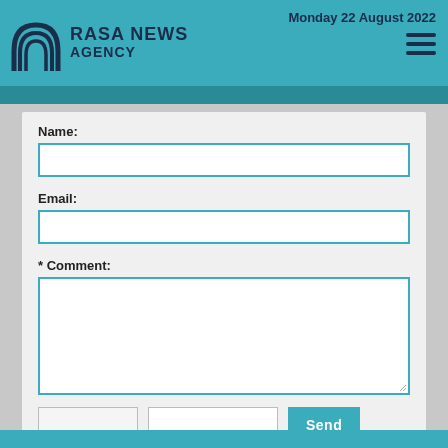RASA NEWS AGENCY — Monday 22 August 2022
Name:
Email:
* Comment:
Send
Please type in your comments in English.
The comments that contain insults or libel to individuals, ethnicities, or contradictions with the laws of the country and religious teachings will not be disclosed